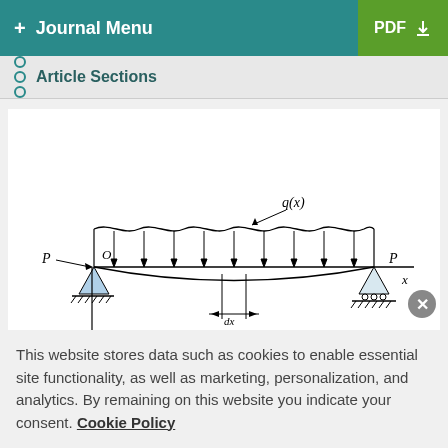+ Journal Menu | PDF
Article Sections
[Figure (engineering-diagram): A simply supported beam with distributed load q(x) applied from above. The beam is supported at two points by triangular pin/roller supports with hatching below. Labeled: P and O at left end, P at right end, x axis pointing right, y axis pointing down. A distributed load with arrows pointing downward is shown along the beam with a wavy top. An infinitesimal element dx is indicated at the center bottom. The beam sags downward between supports showing deflection.]
(a)
This website stores data such as cookies to enable essential site functionality, as well as marketing, personalization, and analytics. By remaining on this website you indicate your consent. Cookie Policy